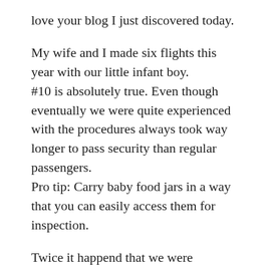love your blog I just discovered today.
My wife and I made six flights this year with our little infant boy.
#10 is absolutely true. Even though eventually we were quite experienced with the procedures always took way longer to pass security than regular passengers.
Pro tip: Carry baby food jars in a way that you can easily access them for inspection.
Twice it happend that we were allowed to